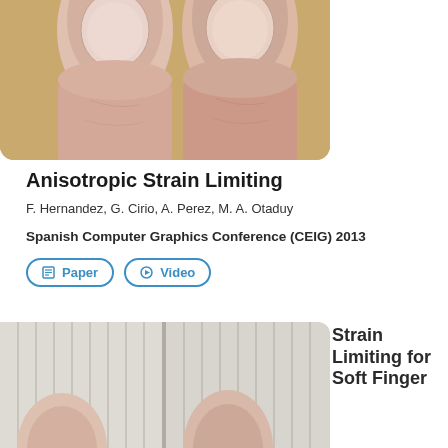[Figure (photo): Two human fingers side by side viewed from above, showing fingernails, against a tan/brown background. Image is cropped at top and has rounded bottom corners.]
Anisotropic Strain Limiting
F. Hernandez, G. Cirio, A. Perez, M. A. Otaduy
Spanish Computer Graphics Conference (CEIG) 2013
Paper  Video
[Figure (photo): Two side-by-side panels showing fabric/cloth simulation with a hand or finger pressing against it, demonstrating strain limiting for soft finger contact.]
Strain Limiting for Soft Finger